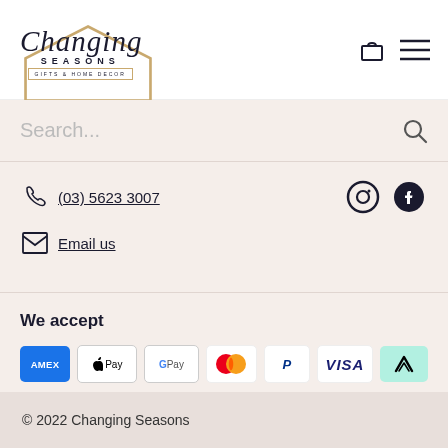[Figure (logo): Changing Seasons Gifts & Home Decor logo with script text and house outline in gold]
Search...
(03) 5623 3007
Email us
We accept
[Figure (infographic): Payment method badges: American Express, Apple Pay, Google Pay, Mastercard, PayPal, Visa, Afterpay]
© 2022 Changing Seasons